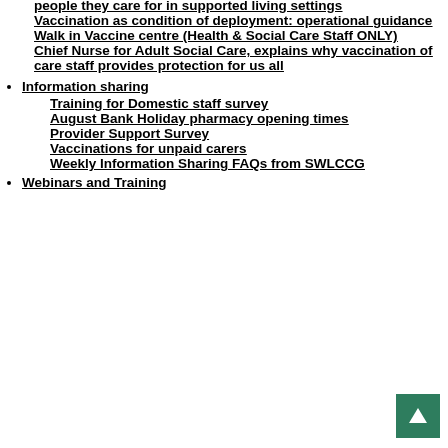people they care for in supported living settings
Vaccination as condition of deployment: operational guidance
Walk in Vaccine centre (Health & Social Care Staff ONLY)
Chief Nurse for Adult Social Care, explains why vaccination of care staff provides protection for us all
Information sharing
Training for Domestic staff survey
August Bank Holiday pharmacy opening times
Provider Support Survey
Vaccinations for unpaid carers
Weekly Information Sharing FAQs from SWLCCG
Webinars and Training